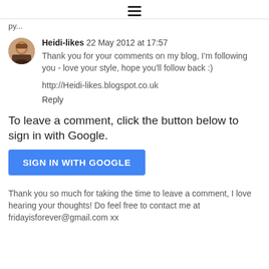≡
py...
Heidi-likes 22 May 2012 at 17:57
Thank you for your comments on my blog, I'm following you - love your style, hope you'll follow back :)

http://Heidi-likes.blogspot.co.uk

Reply
To leave a comment, click the button below to sign in with Google.
SIGN IN WITH GOOGLE
Thank you so much for taking the time to leave a comment, I love hearing your thoughts! Do feel free to contact me at fridayisforever@gmail.com xx